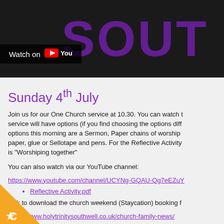[Figure (screenshot): YouTube video thumbnail showing 'SOUT' in large purple letters on dark background with 'Watch on YouTube' overlay bar]
Sunday 4th July
Join us for our One Church service at 10.30. You can watch the service will have options (if you find choosing the options diff options this morning are a Sermon, Paper chains of worship paper, glue or Sellotape and pens. For the Reflective Activity is "Worshiping together"
You can also watch via our YouTube channel:
https://www.youtube.com/channel/UCYNg-GQAU-Qg7eEZuY
Reflective Activity.pdf
Link to download the church weekend (Staycation) booking f
https://www.holytrinitysouthwell.co.uk/church-family-news/
If you get lost along the way the links to the options are belo